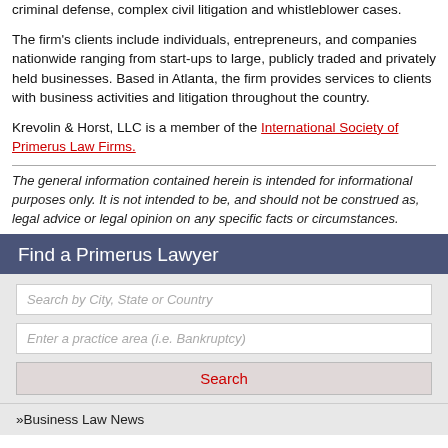criminal defense, complex civil litigation and whistleblower cases.
The firm's clients include individuals, entrepreneurs, and companies nationwide ranging from start-ups to large, publicly traded and privately held businesses. Based in Atlanta, the firm provides services to clients with business activities and litigation throughout the country.
Krevolin & Horst, LLC is a member of the International Society of Primerus Law Firms.
The general information contained herein is intended for informational purposes only. It is not intended to be, and should not be construed as, legal advice or legal opinion on any specific facts or circumstances.
Find a Primerus Lawyer
Search by City, State or Country
Enter a practice area (i.e. Bankruptcy)
Search
»Business Law News